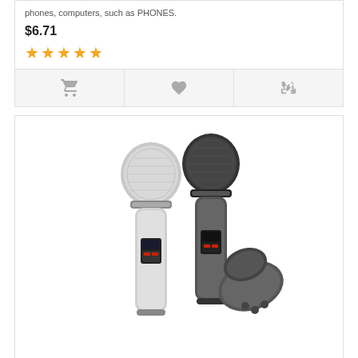phones, computers, such as PHONES.
$6.71
[Figure (other): Five gold star rating icons]
[Figure (other): Three action icons: shopping cart, heart/wishlist, compare arrows]
[Figure (photo): Product photo showing two wireless microphones (one silver, one black/dark) and a small USB receiver/dongle]
K18 - U 2PCS UHF Wireless Microphone Bluetooth for iOS Android Windows